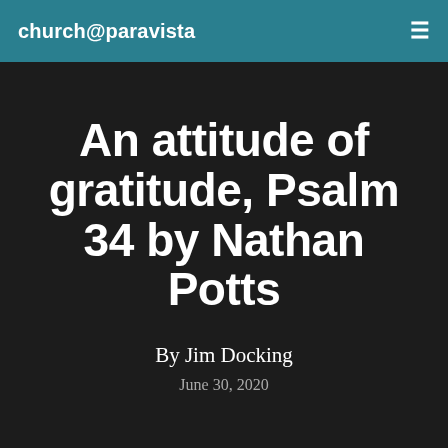church@paravista
An attitude of gratitude, Psalm 34 by Nathan Potts
By Jim Docking
June 30, 2020